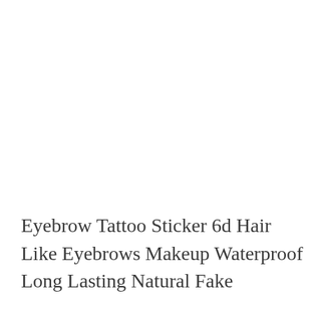Eyebrow Tattoo Sticker 6d Hair Like Eyebrows Makeup Waterproof Long Lasting Natural Fake